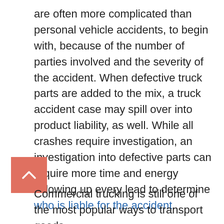are often more complicated than personal vehicle accidents, to begin with, because of the number of parties involved and the severity of the accident. When defective truck parts are added to the mix, a truck accident case may spill over into product liability, as well. While all crashes require investigation, an investigation into defective parts can require more time and energy following up every lead to determine who is liable for the accident.
Commercial trucking is still one of the most popular ways to transport goods